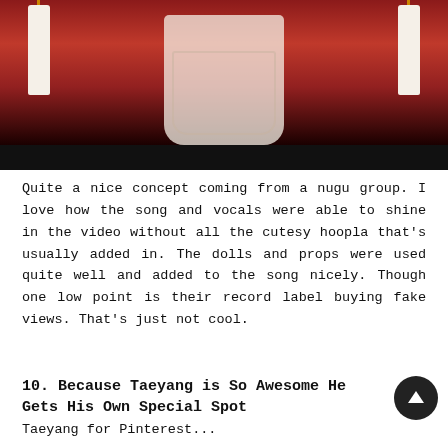[Figure (photo): Photo of a red-draped table with white candles on each side and a decorative lace cloth in the center, with hands partially visible. Dark band at bottom of image.]
Quite a nice concept coming from a nugu group. I love how the song and vocals were able to shine in the video without all the cutesy hoopla that's usually added in. The dolls and props were used quite well and added to the song nicely. Though one low point is their record label buying fake views. That's just not cool.
10. Because Taeyang is So Awesome He Gets His Own Special Spot